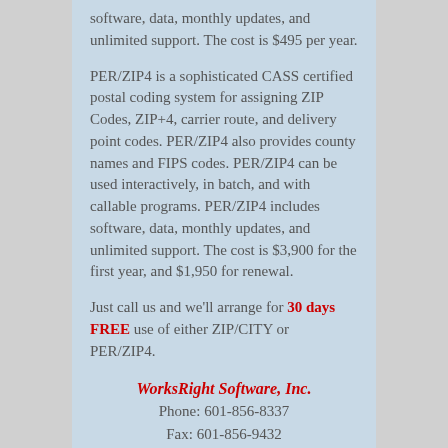software, data, monthly updates, and unlimited support. The cost is $495 per year.
PER/ZIP4 is a sophisticated CASS certified postal coding system for assigning ZIP Codes, ZIP+4, carrier route, and delivery point codes. PER/ZIP4 also provides county names and FIPS codes. PER/ZIP4 can be used interactively, in batch, and with callable programs. PER/ZIP4 includes software, data, monthly updates, and unlimited support. The cost is $3,900 for the first year, and $1,950 for renewal.
Just call us and we'll arrange for 30 days FREE use of either ZIP/CITY or PER/ZIP4.
WorksRight Software, Inc.
Phone: 601-856-8337
Fax: 601-856-9432